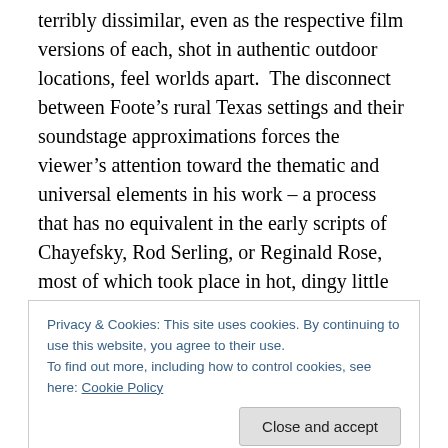terribly dissimilar, even as the respective film versions of each, shot in authentic outdoor locations, feel worlds apart.  The disconnect between Foote's rural Texas settings and their soundstage approximations forces the viewer's attention toward the thematic and universal elements in his work – a process that has no equivalent in the early scripts of Chayefsky, Rod Serling, or Reginald Rose, most of which took place in hot, dingy little rooms that were more easily evoked in a TV studio.

The ending of “The Trip to Bountiful” is nostalgic but hardly
Privacy & Cookies: This site uses cookies. By continuing to use this website, you agree to their use.
To find out more, including how to control cookies, see here: Cookie Policy
plays out as a sad exercise in self-deception on the part of